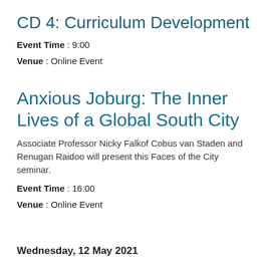CD 4: Curriculum Development
Event Time : 9:00
Venue : Online Event
Anxious Joburg: The Inner Lives of a Global South City
Associate Professor Nicky Falkof Cobus van Staden and Renugan Raidoo will present this Faces of the City seminar.
Event Time : 16:00
Venue : Online Event
Wednesday, 12 May 2021